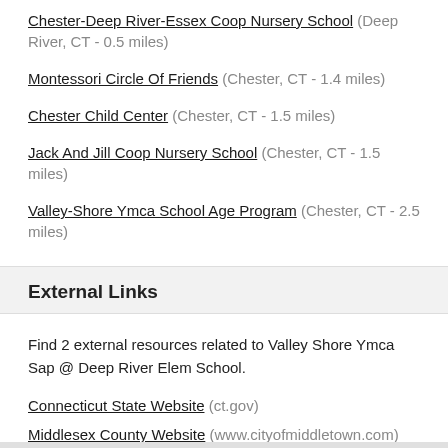Chester-Deep River-Essex Coop Nursery School (Deep River, CT - 0.5 miles)
Montessori Circle Of Friends (Chester, CT - 1.4 miles)
Chester Child Center (Chester, CT - 1.5 miles)
Jack And Jill Coop Nursery School (Chester, CT - 1.5 miles)
Valley-Shore Ymca School Age Program (Chester, CT - 2.5 miles)
External Links
Find 2 external resources related to Valley Shore Ymca Sap @ Deep River Elem School.
Connecticut State Website (ct.gov)
Middlesex County Website (www.cityofmiddletown.com)